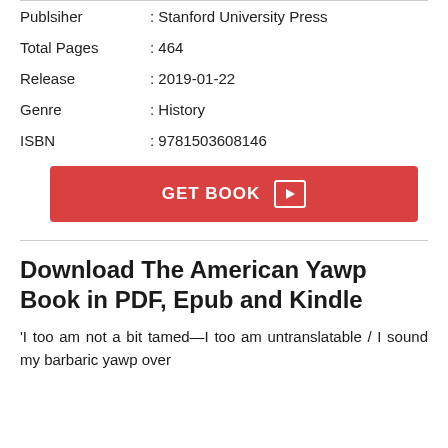| Publsiher | : Stanford University Press |
| Total Pages | : 464 |
| Release | : 2019-01-22 |
| Genre | : History |
| ISBN | : 9781503608146 |
GET BOOK ▶
Download The American Yawp Book in PDF, Epub and Kindle
'I too am not a bit tamed—I too am untranslatable / I sound my barbaric yawp over